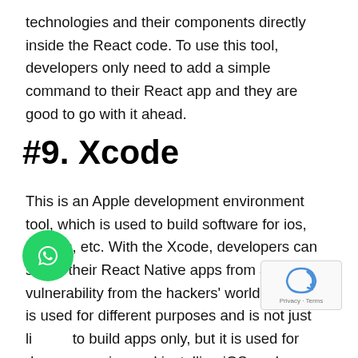technologies and their components directly inside the React code. To use this tool, developers only need to add a simple command to their React app and they are good to go with it ahead.
#9. Xcode
This is an Apple development environment tool, which is used to build software for ios, MacOs, etc. With the Xcode, developers can shield their React Native apps from any vulnerability from the hackers' world. This tool is used for different purposes and is not just limited to build apps only, but it is used for downloading and installing iOS packages as well. This tool helps developers to create custom build